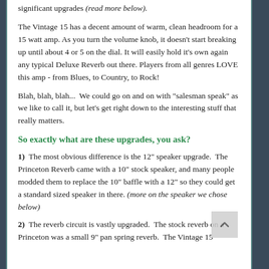significant upgrades (read more below).
The Vintage 15 has a decent amount of warm, clean headroom for a 15 watt amp. As you turn the volume knob, it doesn't start breaking up until about 4 or 5 on the dial. It will easily hold it's own again any typical Deluxe Reverb out there. Players from all genres LOVE this amp - from Blues, to Country, to Rock!
Blah, blah, blah...  We could go on and on with "salesman speak" as we like to call it, but let's get right down to the interesting stuff that really matters.
So exactly what are these upgrades, you ask?
1)  The most obvious difference is the 12" speaker upgrade.  The Princeton Reverb came with a 10" stock speaker, and many people modded them to replace the 10" baffle with a 12" so they could get a standard sized speaker in there. (more on the speaker we chose below)
2)  The reverb circuit is vastly upgraded.  The stock reverb on a Princeton was a small 9" pan spring reverb.  The Vintage 15